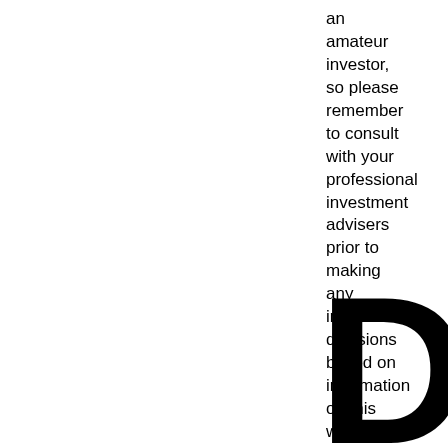an amateur investor, so please remember to consult with your professional investment advisers prior to making any investment decisions based on information on this website.
[Figure (logo): Large bold letter D partially visible in the bottom-right corner, black on white background]